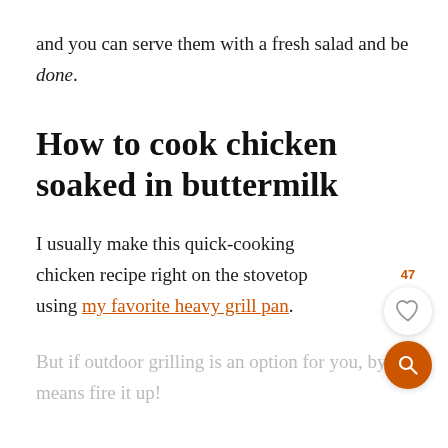and you can serve them with a fresh salad and be done.
How to cook chicken soaked in buttermilk
I usually make this quick-cooking chicken recipe right on the stovetop using my favorite heavy grill pan.
But if outdoor grilling is an option for you, by all means fire it up!